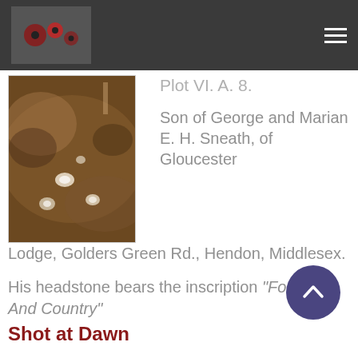[Figure (photo): Sepia-toned photograph showing a ground-level view with scattered small white objects on dark earth]
Plot VI. A. 8.
Son of George and Marian E. H. Sneath, of Gloucester Lodge, Golders Green Rd., Hendon, Middlesex.
His headstone bears the inscription "For King And Country"
Shot at Dawn